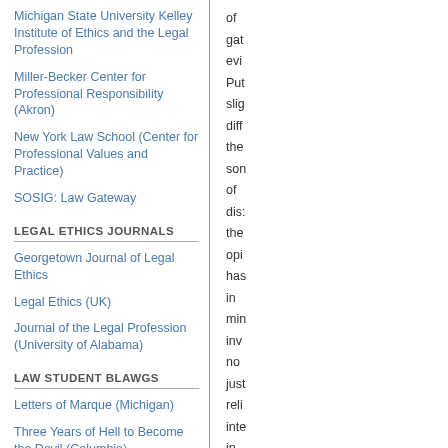Michigan State University Kelley Institute of Ethics and the Legal Profession
Miller-Becker Center for Professional Responsibility (Akron)
New York Law School (Center for Professional Values and Practice)
SOSIG: Law Gateway
LEGAL ETHICS JOURNALS
Georgetown Journal of Legal Ethics
Legal Ethics (UK)
Journal of the Legal Profession (University of Alabama)
LAW STUDENT BLAWGS
Letters of Marque (Michigan)
Three Years of Hell to Become the Devil (Columbia)
Jeremy's Weblog (Harvard)
JD2B.com
of
gat
evi
Put
slig
diff
the
son
of
dis:
the
opi
has
in
min
inv
no
just
reli
inte
in
the
ser